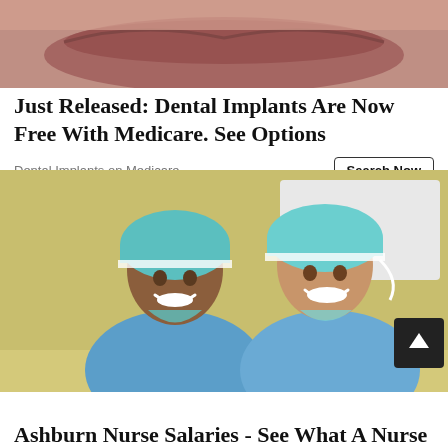[Figure (photo): Close-up photo of a person's lips/chin area, partially visible at the top of the page, associated with a dental implants advertisement.]
Just Released: Dental Implants Are Now Free With Medicare. See Options
Dental Implants on Medicare
Search Now
[Figure (photo): Two female nurses or medical professionals wearing teal/green surgical caps and blue scrubs, smiling at the camera in what appears to be a medical setting. A dark scroll-to-top button is visible in the lower right corner of the image.]
Ashburn Nurse Salaries - See What A Nurse